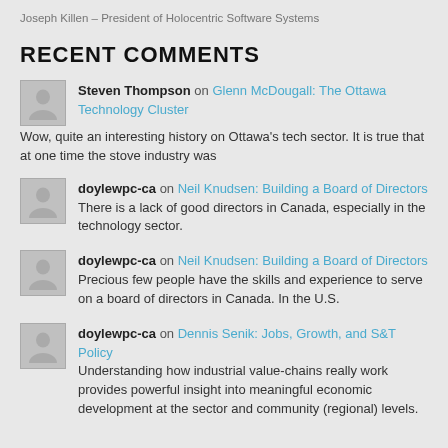Joseph Killen – President of Holocentric Software Systems
RECENT COMMENTS
Steven Thompson on Glenn McDougall: The Ottawa Technology Cluster
Wow, quite an interesting history on Ottawa's tech sector. It is true that at one time the stove industry was
doylewpc-ca on Neil Knudsen: Building a Board of Directors
There is a lack of good directors in Canada, especially in the technology sector.
doylewpc-ca on Neil Knudsen: Building a Board of Directors
Precious few people have the skills and experience to serve on a board of directors in Canada. In the U.S.
doylewpc-ca on Dennis Senik: Jobs, Growth, and S&T Policy
Understanding how industrial value-chains really work provides powerful insight into meaningful economic development at the sector and community (regional) levels.